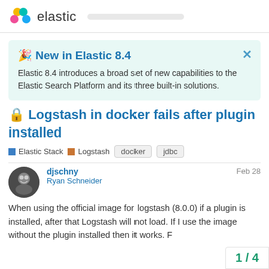elastic
🎉 New in Elastic 8.4
Elastic 8.4 introduces a broad set of new capabilities to the Elastic Search Platform and its three built-in solutions.
🔒 Logstash in docker fails after plugin installed
Elastic Stack  Logstash  docker  jdbc
djschny
Ryan Schneider
Feb 28
When using the official image for logstash (8.0.0) if a plugin is installed, after that Logstash will not load. If I use the image without the plugin installed then it works. F
1 / 4